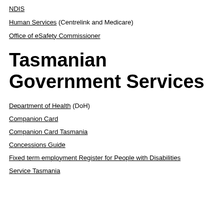NDIS
Human Services (Centrelink and Medicare)
Office of eSafety Commissioner
Tasmanian Government Services
Department of Health (DoH)
Companion Card
Companion Card Tasmania
Concessions Guide
Fixed term employment Register for People with Disabilities
Service Tasmania